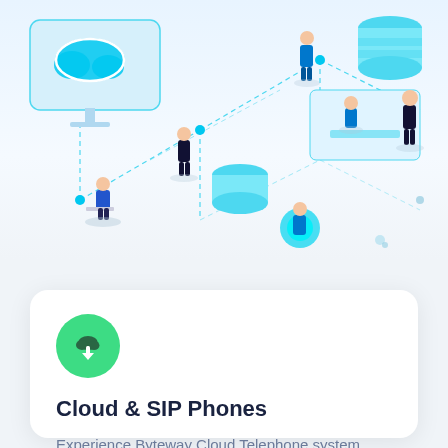[Figure (illustration): Isometric illustration of a cloud computing network with multiple people working, connected by dashed lines, cloud storage icons, database cylinders, and floating platform elements in blue and cyan tones.]
Cloud & SIP Phones
Experience Byteway Cloud Telephone system